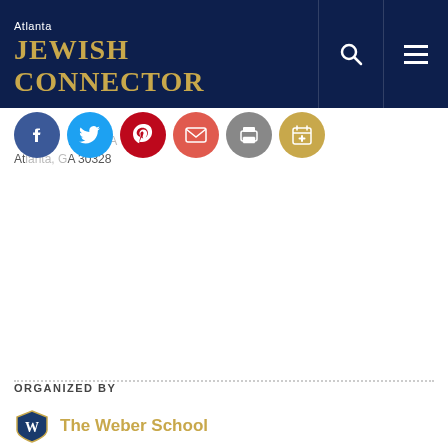Atlanta JEWISH CONNECTOR
[Figure (other): Social sharing icons row: Facebook (blue), Twitter (light blue), Pinterest (red), Email (orange-red), Print (grey), Add to Calendar (gold)]
Atlanta, GA 30328
ORGANIZED BY
[Figure (logo): The Weber School logo - letter W with shield design]
The Weber School